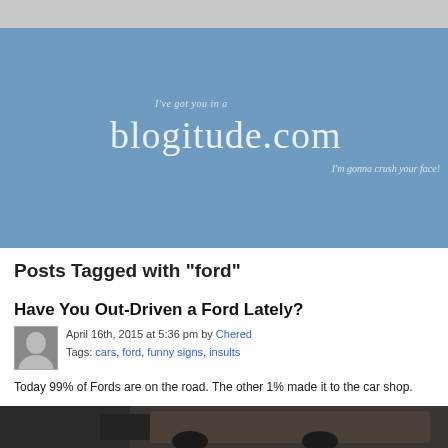[Figure (illustration): Blue header banner for blogitude.com with text: 'I've got you in a', 'blogitude.com', 'I'm gonna crush your face!']
Posts Tagged with "ford"
Have You Out-Driven a Ford Lately?
April 16th, 2015 at 5:36 pm by Chered
Tags: cars, ford, funny signs, insults
Today 99% of Fords are on the road. The other 1% made it to the car shop.
[Figure (photo): Dark colored car photo partially visible at bottom of page]